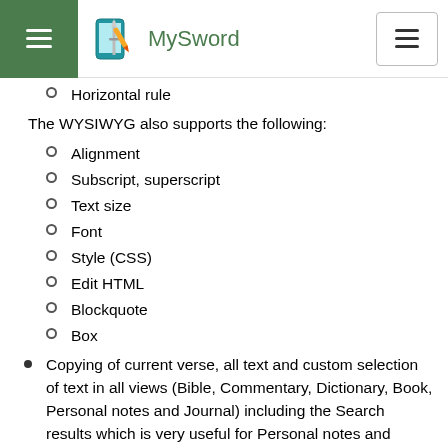MySword
Horizontal rule
The WYSIWYG also supports the following:
Alignment
Subscript, superscript
Text size
Font
Style (CSS)
Edit HTML
Blockquote
Box
Copying of current verse, all text and custom selection of text in all views (Bible, Commentary, Dictionary, Book, Personal notes and Journal) including the Search results which is very useful for Personal notes and Journal editing
Verse link in Commentaries, Dictionaries,